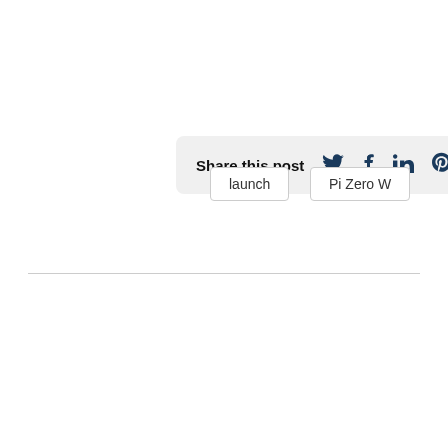Share this post 🐦 f in 𝒫
launch
Pi Zero W
We use cookies to ensure that we give you the best experience on our websites. By continuing to visit this site you agree to our use of cookies. Cookie policy